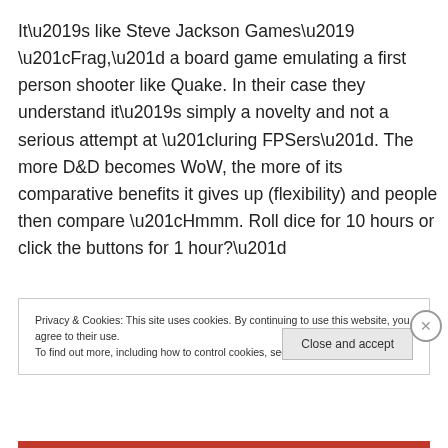It’s like Steve Jackson Games’ “Frag,” a board game emulating a first person shooter like Quake. In their case they understand it’s simply a novelty and not a serious attempt at “luring FPSers”. The more D&D becomes WoW, the more of its comparative benefits it gives up (flexibility) and people then compare “Hmmm. Roll dice for 10 hours or click the buttons for 1 hour?”
Privacy & Cookies: This site uses cookies. By continuing to use this website, you agree to their use.
To find out more, including how to control cookies, see here: Cookie Policy